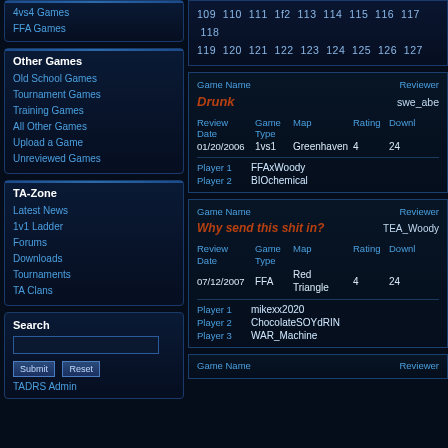4vs4 Games
FFA Games
109 110 111 1f2 113 114 115 116 117 118 119 120 121 122 123 124 125 126 127
Other Games
Old School Games
Tournament Games
Training Games
All Other Games
Upload a Game
Unreviewed Games
| Game Name | Reviewer | Review Date | Game Type | Map | Rating | Downloads |
| --- | --- | --- | --- | --- | --- | --- |
| Drunk | swe_abe | 01/20/2006 | 1vs1 | Greenhaven | 4 | 24 |
| Player 1: FFAxWoody | Player 2: BIOchemical |  |  |  |  |  |
TA-Zone
Latest News
1v1 Ladder
Forums
Downloads
Tournaments
TA Clans
| Game Name | Reviewer | Review Date | Game Type | Map | Rating | Downloads |
| --- | --- | --- | --- | --- | --- | --- |
| Why send this shit in? | TEA_Woody | 07/12/2007 | FFA | Red Triangle | 4 | 24 |
| Player 1: mikexx2020 | Player 2: ChocolateSOYdRIN | Player 3: WAR_Machine |  |  |  |  |
Search
Submit Reset
TADRS Admin
Game Name    Reviewer